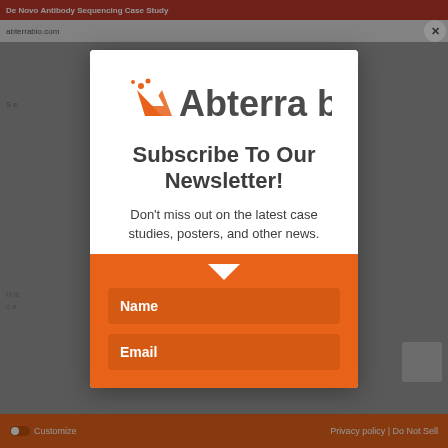[Figure (screenshot): Website screenshot background showing abterrabio.com with orange header bar, gray dimmed content area, and orange footer bar with Customize, Privacy policy, and Do Not Sell links.]
[Figure (logo): Abterra Bio logo with orange stylized 'A' mark and gray 'Abterra bio' text]
Subscribe To Our Newsletter!
Don't miss out on the latest case studies, posters, and other news.
Name
Email